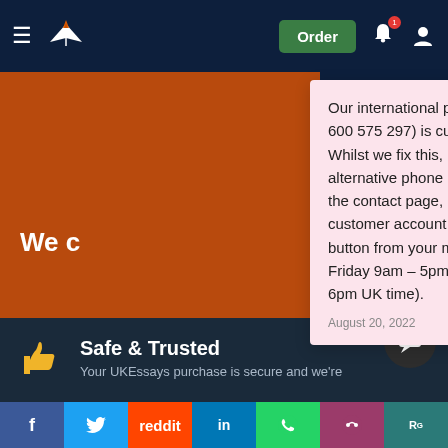UKEssays navigation header with logo, Order button, notification bell, and user icon
We c
Our international phone number (+971 600 575 297) is currently out of service. Whilst we fix this, please use the alternative phone numbers provided on the contact page, message through your customer account or click the WhatsApp button from your mobile (Monday – Friday 9am – 5pm, Saturday 10am – 6pm UK time).
August 20, 2022
Safe & Trusted
Your UKEssays purchase is secure and we're